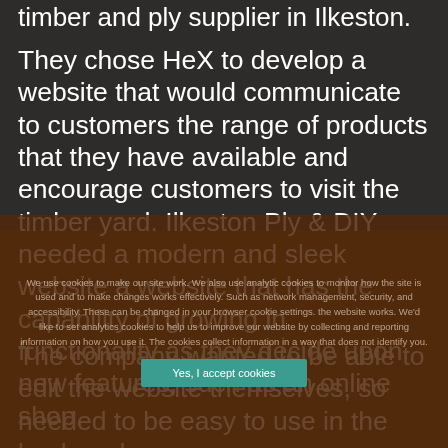timber and ply supplier in Ilkeston.
They chose HeX to develop a website that would communicate to customers the range of products that they have available and encourage customers to visit the timber yard. Ilkeston Ply & DIY needed a modern and sleek website a website that has the capability of growing in functionality as they decide upon new features, such as an online shop.
The company wanted to be able to edit the website themselves, so needed to be easy to use in the back end
We use cookies to make our site work. We also use analytic cookies to monitor how the site is used and to make changes works effectively. Such as network management, security, and accessibility. These can be changed in your browser cookie settings. the website works. We'd like to set analytics cookies to help us to improve our website by collecting and reporting information on how you use it. The cookies collect information in a way that does not identify you.
Yes, I accept cookies